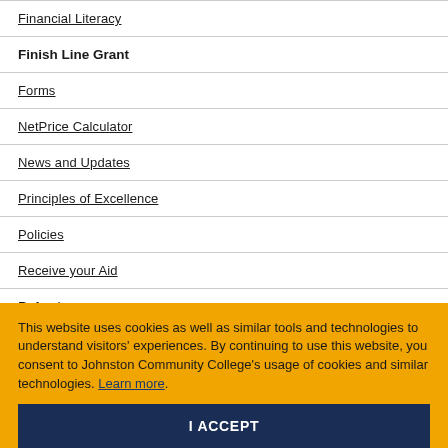Financial Literacy
Finish Line Grant
Forms
NetPrice Calculator
News and Updates
Principles of Excellence
Policies
Receive your Aid
Refunds
Satisfactory Academic Progress
This website uses cookies as well as similar tools and technologies to understand visitors' experiences. By continuing to use this website, you consent to Johnston Community College's usage of cookies and similar technologies. Learn more.
I ACCEPT